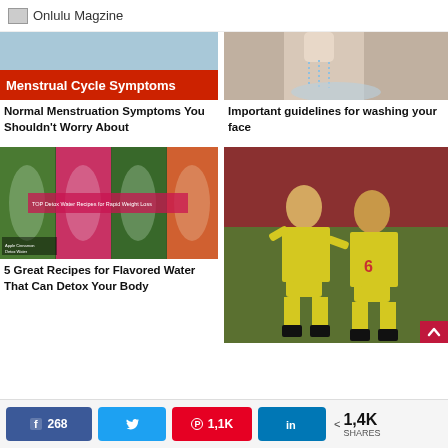Onlulu Magzine
[Figure (photo): Menstrual Cycle Symptoms article thumbnail with red overlay text]
Normal Menstruation Symptoms You Shouldn't Worry About
[Figure (photo): Person washing face with running water]
Important guidelines for washing your face
[Figure (photo): Detox water recipes - multiple jars of colorful flavored water]
5 Great Recipes for Flavored Water That Can Detox Your Body
[Figure (photo): Two soccer players in yellow jerseys celebrating, number 6 visible]
268 | Twitter share | 1,1K Pinterest | LinkedIn | < 1,4K SHARES